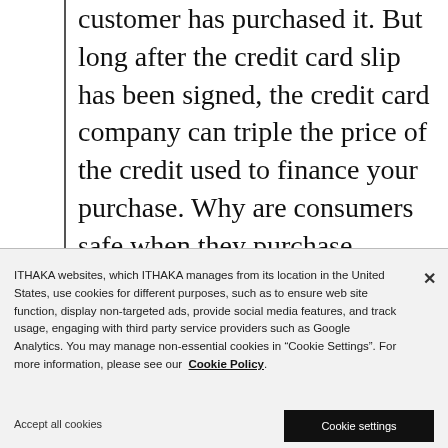customer has purchased it. But long after the credit card slip has been signed, the credit card company can triple the price of the credit used to finance your purchase. Why are consumers safe when they purchase tangible products with cash, but left at the mercy of their creditors when they
ITHAKA websites, which ITHAKA manages from its location in the United States, use cookies for different purposes, such as to ensure web site function, display non-targeted ads, provide social media features, and track usage, engaging with third party service providers such as Google Analytics. You may manage non-essential cookies in “Cookie Settings”. For more information, please see our Cookie Policy.